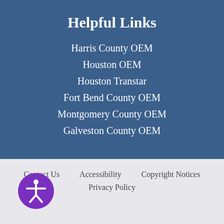Helpful Links
Harris County OEM
Houston OEM
Houston Transtar
Fort Bend County OEM
Montgomery County OEM
Galveston County OEM
Contact Us   Accessibility   Copyright Notices   Privacy Policy